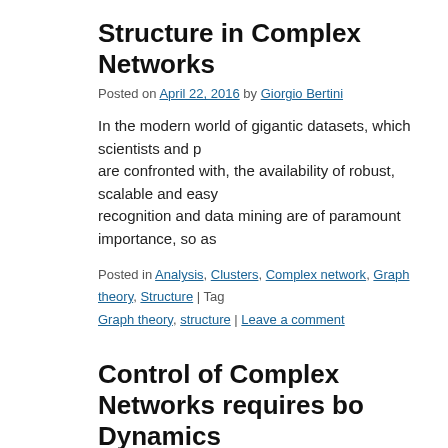Structure in Complex Networks
Posted on April 22, 2016 by Giorgio Bertini
In the modern world of gigantic datasets, which scientists and p are confronted with, the availability of robust, scalable and easy recognition and data mining are of paramount importance, so as
Posted in Analysis, Clusters, Complex network, Graph theory, Structure | Tag Graph theory, structure | Leave a comment
Control of Complex Networks requires bo Dynamics
Posted on April 21, 2016 by Giorgio Bertini
The study of network structure has uncovered signatures of the However, there is also a need to understand how to control them to revert a diseased cell to a healthy state, or … Continue readin
Posted in Complex network, Complex system, Control, Dynamics, Structure | control, dynamics, structure | Leave a comment